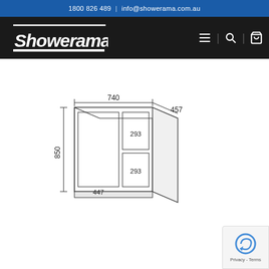1800 826 489  |  info@showerama.com.au
[Figure (logo): Showerama logo in white italic text on black background]
[Figure (schematic): Engineering dimension drawing of a vanity cabinet unit showing dimensions: width 740mm, depth 457mm, height 850mm, with internal compartment dimensions 447mm wide left door and two right compartments each 293mm wide]